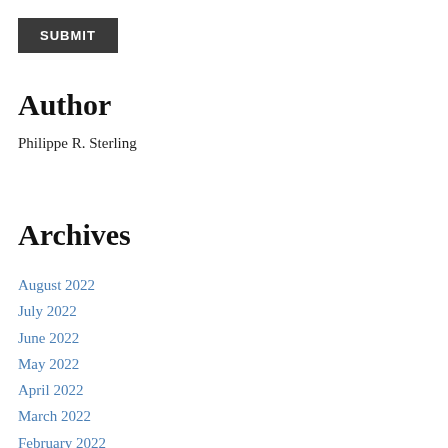SUBMIT
Author
Philippe R. Sterling
Archives
August 2022
July 2022
June 2022
May 2022
April 2022
March 2022
February 2022
January 2022
December 2021
November 2021
October 2021